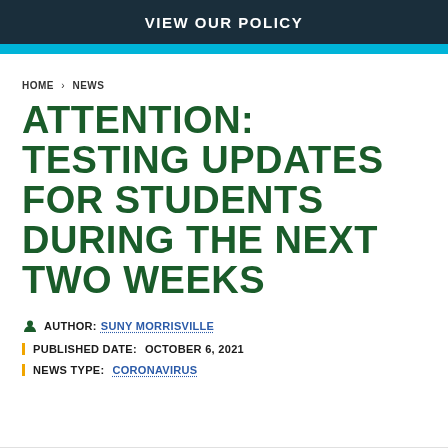VIEW OUR POLICY
HOME › NEWS
ATTENTION: TESTING UPDATES FOR STUDENTS DURING THE NEXT TWO WEEKS
AUTHOR: SUNY MORRISVILLE
PUBLISHED DATE: OCTOBER 6, 2021
NEWS TYPE: CORONAVIRUS